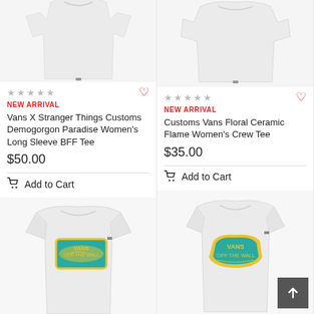[Figure (photo): Vans X Stranger Things long sleeve women's tee, white shirt shown from front, product listing image]
[Figure (photo): Customs Vans Floral Ceramic Flame women's crew tee, white shirt from front, product listing image]
★★★★★
NEW ARRIVAL
Vans X Stranger Things Customs Demogorgon Paradise Women's Long Sleeve BFF Tee
$50.00
Add to Cart
★★★★★
NEW ARRIVAL
Customs Vans Floral Ceramic Flame Women's Crew Tee
$35.00
Add to Cart
[Figure (photo): White t-shirt with Vans Off The Wall logo in teal and yellow, women's fit]
[Figure (photo): White t-shirt with Vans Off The Wall logo in yellow and teal, women's fit]